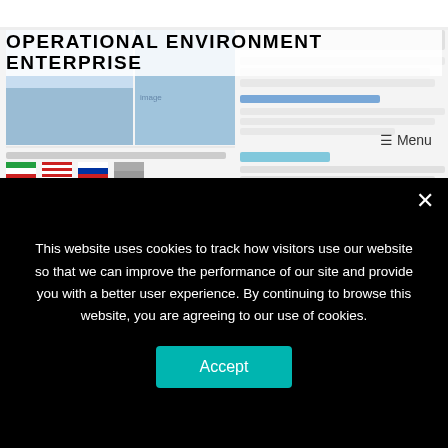OPERATIONAL ENVIRONMENT ENTERPRISE
[Figure (screenshot): Screenshot of the Operational Environment Enterprise website showing banner images, flags, and link sections]
Read the NEW TRADOC G2 Newsletter December 2020
12/11/2020
[Figure (screenshot): Dark banner/header area of newsletter with red element]
This website uses cookies to track how visitors use our website so that we can improve the performance of our site and provide you with a better user experience. By continuing to browse this website, you are agreeing to our use of cookies.
Accept